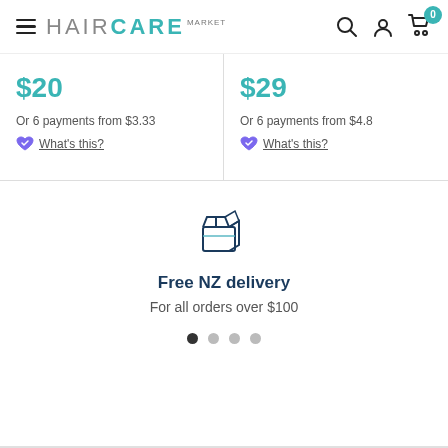HAIRCARE MARKET — navigation header with search, account, cart (0)
$20
Or 6 payments from $3.33
What's this?
$29
Or 6 payments from $4.8
What's this?
[Figure (illustration): Package/box delivery icon, outlined style in dark teal/navy]
Free NZ delivery
For all orders over $100